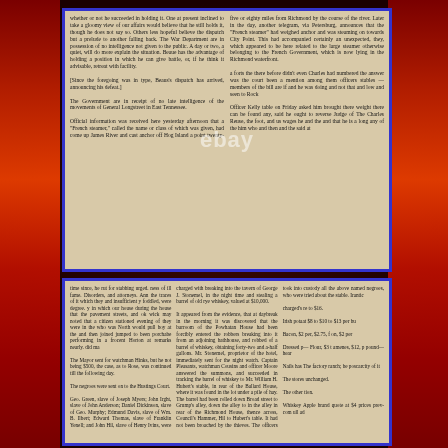[Figure (photo): Photograph of two antique newspaper clippings placed on a dark red/brown marbled background with decorative red flame-like borders on left and right sides. Both clippings are bordered in blue. Top clipping contains two columns of Civil War era newspaper text. Bottom clipping contains three columns of Civil War era newspaper text. An eBay watermark is visible over the top clipping.]